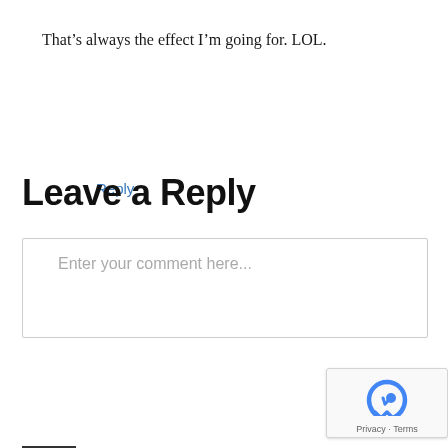That’s always the effect I’m going for. LOL.
Reply
Leave a Reply
Enter your comment here...
[Figure (other): reCAPTCHA widget with Privacy and Terms links]